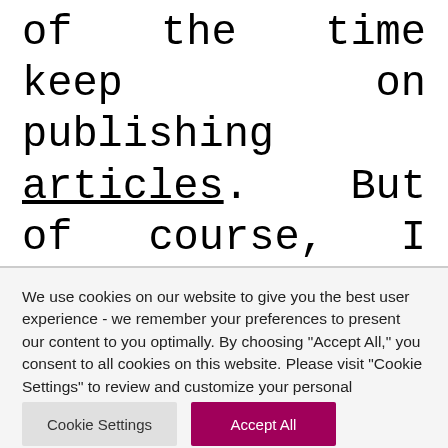of the time keep on publishing articles. But of course, I listened to the wrong advisors and I was thinking: am I good enough? Do I know enough? Maybe I should take this or that course, and learn more
We use cookies on our website to give you the best user experience - we remember your preferences to present our content to you optimally. By choosing "Accept All," you consent to all cookies on this website. Please visit "Cookie Settings" to review and customize your personal preferences regarding cookies.
Cookie Settings | Accept All